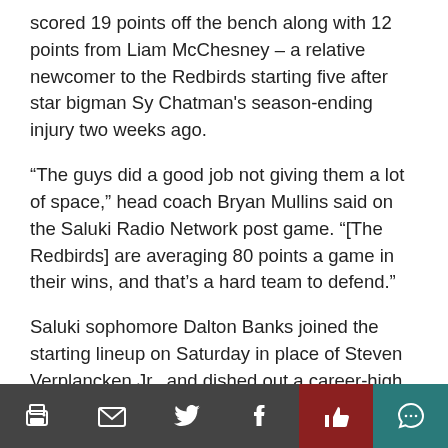scored 19 points off the bench along with 12 points from Liam McChesney – a relative newcomer to the Redbirds starting five after star bigman Sy Chatman's season-ending injury two weeks ago.
“The guys did a good job not giving them a lot of space,” head coach Bryan Mullins said on the Saluki Radio Network post game. “[The Redbirds] are averaging 80 points a game in their wins, and that’s a hard team to defend.”
Saluki sophomore Dalton Banks joined the starting lineup on Saturday in place of Steven Verplancken Jr., and dished out a career-high seven assists in the win. Additionally, Banks’s added presence helped draw the Redbirds’ attention away from his teammates.
“Dalton’s a really good point guard. It takes pressure...
toolbar with print, email, twitter, facebook, like, comment icons